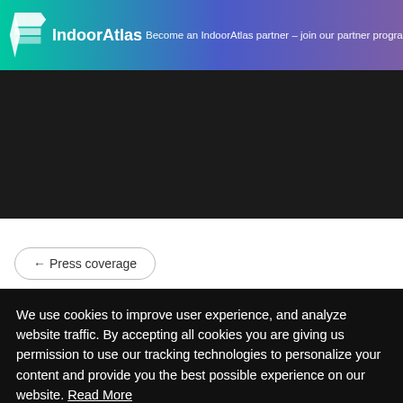IndoorAtlas | Become an IndoorAtlas partner – join our partner program today | Let's talk
← Press coverage
We use cookies to improve user experience, and analyze website traffic. By accepting all cookies you are giving us permission to use our tracking technologies to personalize your content and provide you the best possible experience on our website. Read More
Settings | Accept All